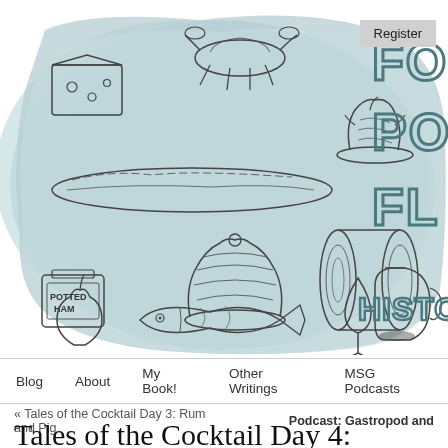[Figure (illustration): Header illustration for a food history blog/website. Light blue watercolor background with hand-drawn sketches of various foods: cheese, lobster/crayfish, roasted bird on platter, baguette, potted ham can, a pudding/molded dessert, a rolled item, a pear, a fish, a wine glass, and a jug/pitcher. On the right side, large hand-lettered text partially visible reading 'FO', 'PO', 'FL', and 'HISTORI' (truncated). A 'Register' button appears in top right.]
Register
Blog   About   My Book!   Other Writings   MSG Podcasts
« Tales of the Cocktail Day 3: Rum and Pig       Podcast: Gastropod and
Tales of the Cocktail Day 4: